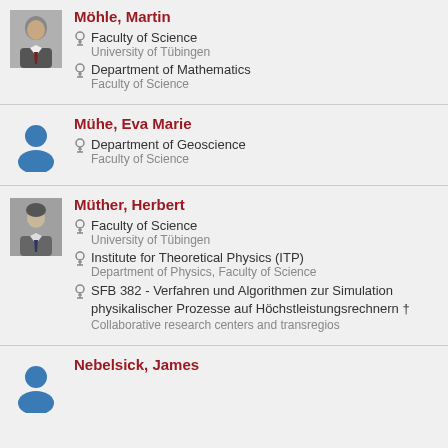Möhle, Martin
Faculty of Science — University of Tübingen
Department of Mathematics — Faculty of Science
Mühe, Eva Marie
Department of Geoscience — Faculty of Science
Müther, Herbert
Faculty of Science — University of Tübingen
Institute for Theoretical Physics (ITP) — Department of Physics, Faculty of Science
SFB 382 - Verfahren und Algorithmen zur Simulation physikalischer Prozesse auf Höchstleistungsrechnern † — Collaborative research centers and transregios
Nebelsick, James